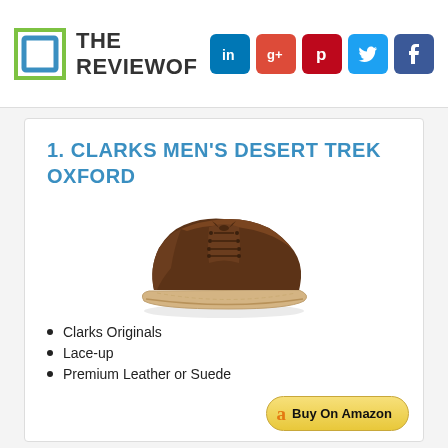THE REVIEWOF
1. CLARKS MEN'S DESERT TREK OXFORD
[Figure (photo): Brown leather Clarks Men's Desert Trek Oxford shoe, low-cut lace-up with crepe sole, shown from a side-front angle.]
Clarks Originals
Lace-up
Premium Leather or Suede